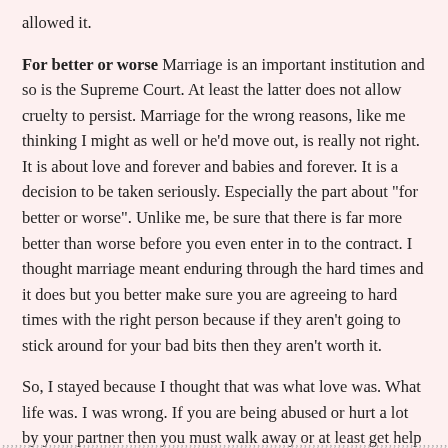allowed it.
For better or worse Marriage is an important institution and so is the Supreme Court. At least the latter does not allow cruelty to persist. Marriage for the wrong reasons, like me thinking I might as well or he'd move out, is really not right. It is about love and forever and babies and forever. It is a decision to be taken seriously. Especially the part about "for better or worse". Unlike me, be sure that there is far more better than worse before you even enter in to the contract. I thought marriage meant enduring through the hard times and it does but you better make sure you are agreeing to hard times with the right person because if they aren't going to stick around for your bad bits then they aren't worth it.
So, I stayed because I thought that was what love was. What life was. I was wrong. If you are being abused or hurt a lot by your partner then you must walk away or at least get help for both of you. Don't stay and be a cliche like me. Be stronger. You can survive on your own. I didn't think I could because that is what he taught me. Now I know that I can and I'm a much better and happier person because of it.
,,,,,,,,,,,,,,,,,,,,,,,,,,,,,,,,,,,,,,,,,,,,,,,,,,,,,,,,,,,,,,,,,,,,,,,,,,,,,,,,,,,,,,,,,,,,,,,,,,,,,,,,,,